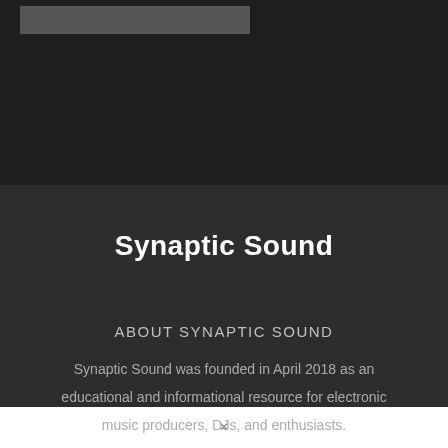[Figure (other): Dark top navigation/header bar with a grey rectangular image placeholder in the upper left]
Synaptic Sound
ABOUT SYNAPTIC SOUND
Synaptic Sound was founded in April 2018 as an educational and informational resource for electronic music producers, DJs, and enthusiasts.